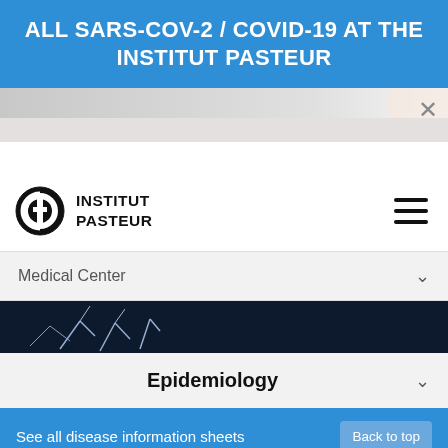ALL SARS-COV-2 / COVID-19 AT THE INSTITUT PASTEUR
[Figure (screenshot): Partial image strip showing a cropped photo and a close (X) button at top right]
[Figure (logo): Institut Pasteur logo: circular symbol with stylized letter and text INSTITUT PASTEUR]
[Figure (photo): Dark navy background photo strip showing microscopic/crystal structures in blue-white tones]
Medical Center
Epidemiology
See all disease information sheets   Back to top